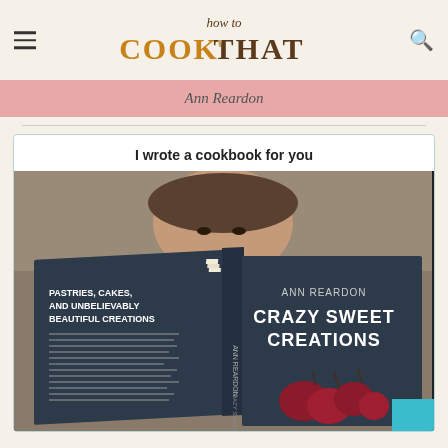how to COOK THAT
Ann Reardon
I wrote a cookbook for you
[Figure (photo): Ann Reardon holding open a copy of her cookbook 'Crazy Sweet Creations: Pastries, Cakes, and Unbelievably Beautiful Creations', with her face visible above the book.]